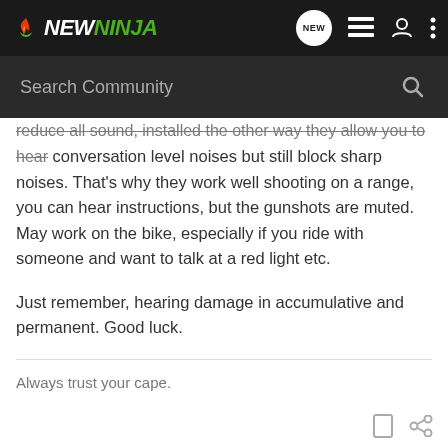[Figure (logo): NewNinja logo with colorful flame icon and green NINJA text]
Search Community
reduce all sound, installed the other way they allow you to hear conversation level noises but still block sharp noises. That's why they work well shooting on a range, you can hear instructions, but the gunshots are muted. May work on the bike, especially if you ride with someone and want to talk at a red light etc.

Just remember, hearing damage in accumulative and permanent. Good luck.
Always trust your cape.